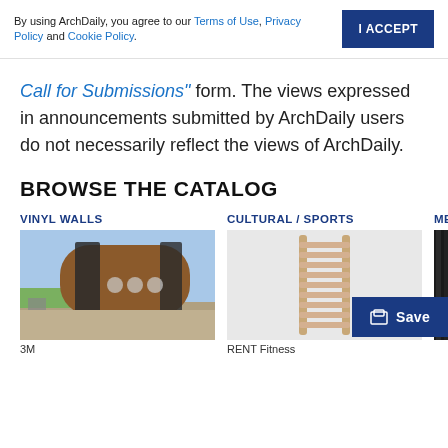By using ArchDaily, you agree to our Terms of Use, Privacy Policy and Cookie Policy.
"Call for Submissions" form. The views expressed in announcements submitted by ArchDaily users do not necessarily reflect the views of ArchDaily.
BROWSE THE CATALOG
VINYL WALLS
[Figure (photo): Photo of an architectural structure with glass and wood panels, modern pod-shaped building exterior]
3M
CULTURAL / SPORTS
[Figure (photo): Photo of a wooden wall-mounted ladder/stall bar fitness equipment on a white background]
RENT Fitness
META
[Figure (photo): Partial photo of dark metal facade/cladding on a building exterior]
Save